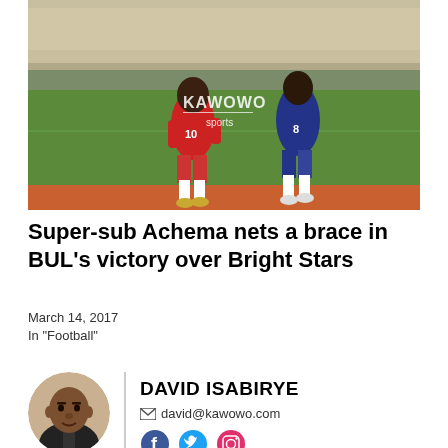[Figure (photo): Two football players running on a pitch — one in red kit (number 10), one in dark blue/navy kit (number 8). Kawowo Sports watermark visible in center of image.]
Super-sub Achema nets a brace in BUL's victory over Bright Stars
March 14, 2017
In "Football"
[Figure (photo): Headshot portrait of David Isabirye, a man in a dark suit jacket.]
DAVID ISABIRYE
david@kawowo.com